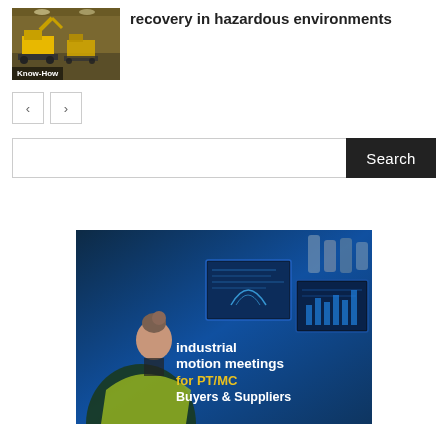[Figure (photo): Thumbnail photo of industrial machinery/excavators in a warehouse with 'Know-How' badge overlay]
recovery in hazardous environments
[Figure (other): Navigation previous and next arrow buttons]
[Figure (other): Search input field with Search button]
[Figure (photo): Industrial motion meetings advertisement image: woman at computer screens with text 'industrial motion meetings for PT/MC Buyers & Suppliers']